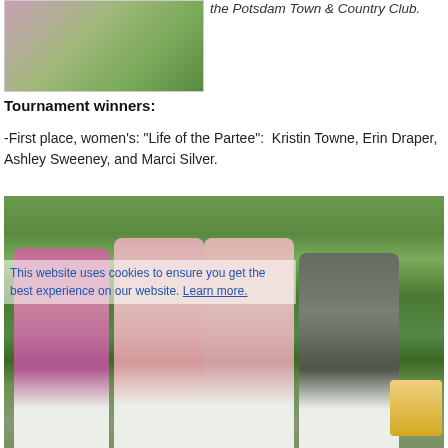[Figure (photo): Blurred photo of pink flowers against green background, top-left of page]
the Potsdam Town & Country Club.
Tournament winners:
-First place, women's: "Life of the Partee": Kristin Towne, Erin Draper, Ashley Sweeney, and Marci Silver.
[Figure (photo): Outdoor photo of four women golfers standing together on a golf course, wearing hats and golf attire in pink, white and dark colors. A cookie consent overlay partially covers the image reading: This website uses cookies to ensure you get the best experience on our website. Learn more.]